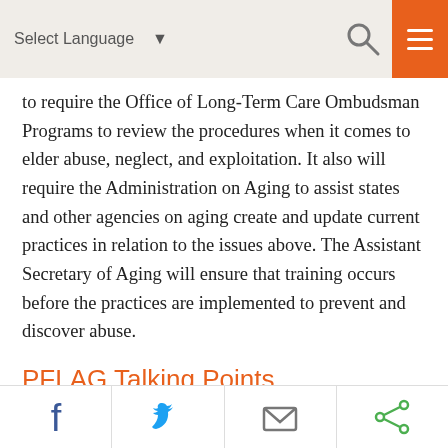Select Language  [search icon] [menu icon]
to require the Office of Long-Term Care Ombudsman Programs to review the procedures when it comes to elder abuse, neglect, and exploitation. It also will require the Administration on Aging to assist states and other agencies on aging create and update current practices in relation to the issues above. The Assistant Secretary of Aging will ensure that training occurs before the practices are implemented to prevent and discover abuse.
PFLAG Talking Points
LGBTQ elders need our support. If this bill
[Facebook] [Twitter] [Email] [Share]